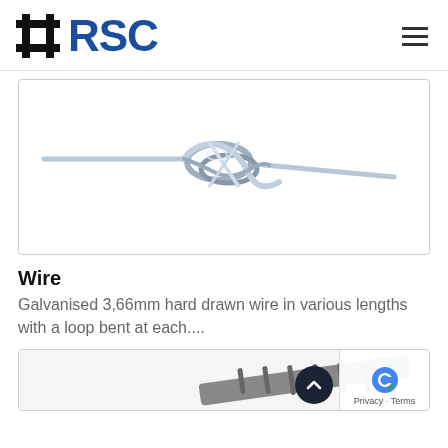## RSC
[Figure (photo): Product photo of a galvanised hard drawn wire with a loop/knot in the center, the wire extends horizontally in both directions]
Wire
Galvanised 3,66mm hard drawn wire in various lengths with a loop bent at each....
[Figure (photo): Partial view of a ribbed steel bar/rebar in the bottom right corner of the page]